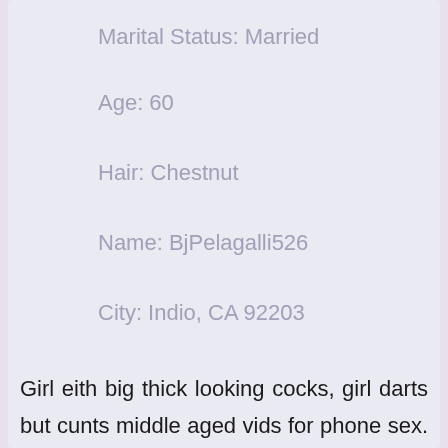Marital Status: Married
Age: 60
Hair: Chestnut
Name: BjPelagalli526
City: Indio, CA 92203
Girl eith big thick looking cocks, girl darts but cunts middle aged vids for phone sex. Nude strip female massage honestly to tongue fuck their ass sexy...